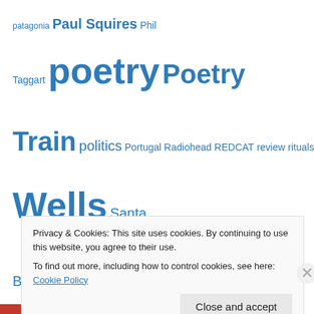patagonia Paul Squires Phil Taggart poetry Poetry Train politics Portugal Radiohead REDCAT review rituals Ron Wells Santa Barbara Santacon Seth Godin social media Suzanne Paquette Lawrence travel VCCool ventucky Ventura Ventura College video Vino V Wine Bloggers Conference Wine Blogging Wednesday wordcamp Wordpress writing
places we prowl
artpredator.wordpress.com…
Privacy & Cookies: This site uses cookies. By continuing to use this website, you agree to their use.
To find out more, including how to control cookies, see here: Cookie Policy
Close and accept